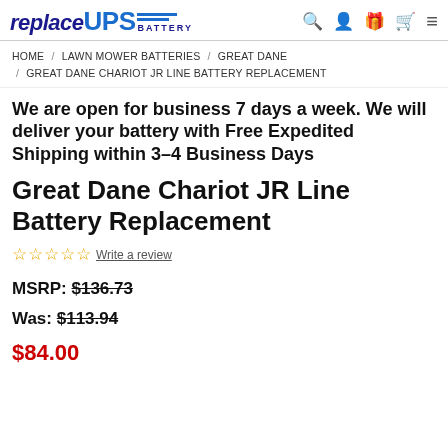replaceUPS BATTERY
HOME / LAWN MOWER BATTERIES / GREAT DANE / GREAT DANE CHARIOT JR LINE BATTERY REPLACEMENT
We are open for business 7 days a week. We will deliver your battery with Free Expedited Shipping within 3-4 Business Days
Great Dane Chariot JR Line Battery Replacement
☆☆☆☆☆ Write a review
MSRP: $136.73
Was: $113.94
$84.00